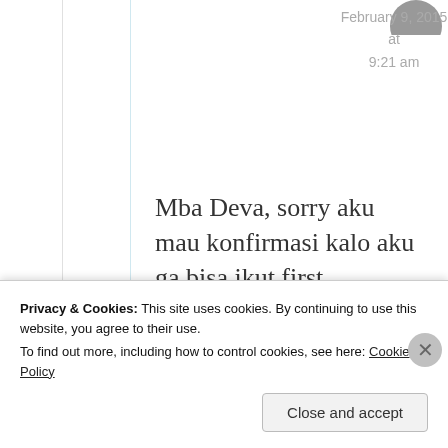February 9, 2015 at 9:21 am
Mba Deva, sorry aku mau konfirmasi kalo aku ga bisa ikut first gathering karna harus ketemu beberapa vendor buat nikahan kuu hikshiks
Privacy & Cookies: This site uses cookies. By continuing to use this website, you agree to their use.
To find out more, including how to control cookies, see here: Cookie Policy
Close and accept